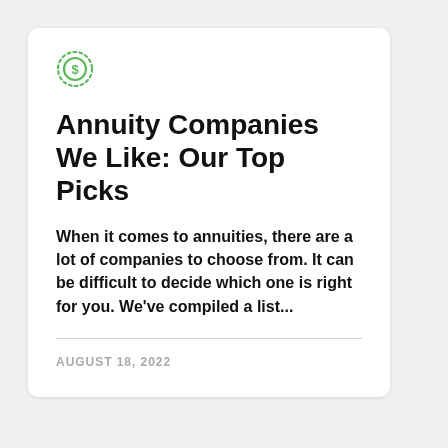[Figure (logo): Green circular dollar sign icon with dotted border, representing an annuity/finance logo]
Annuity Companies We Like: Our Top Picks
When it comes to annuities, there are a lot of companies to choose from. It can be difficult to decide which one is right for you. We've compiled a list...
AUGUST 18, 2022